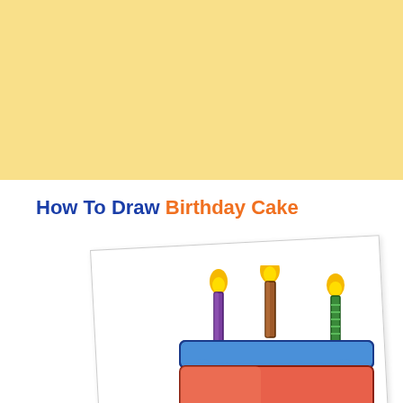[Figure (illustration): Large yellow background rectangle in the top portion of the page]
How To Draw Birthday Cake
[Figure (illustration): A slightly tilted white paper card showing a hand-drawn and colored birthday cake with three candles (purple, brown/orange, and green striped) with yellow flames on top, a blue frosted top layer with drips, and a pink/red cake body. The card is partially visible, cropped at the bottom.]